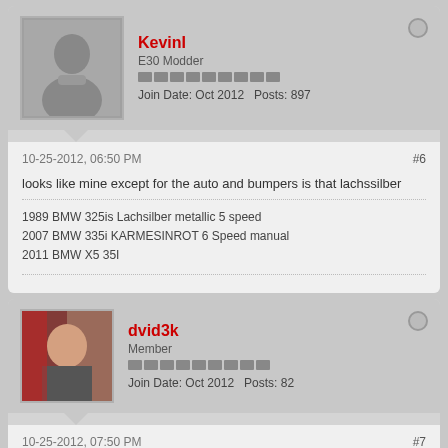KevinI — E30 Modder — Join Date: Oct 2012  Posts: 897
10-25-2012, 06:50 PM  #6
looks like mine except for the auto and bumpers is that lachssilber
1989 BMW 325is Lachsilber metallic 5 speed
2007 BMW 335i KARMESINROT 6 Speed manual
2011 BMW X5 35I
dvid3k — Member — Join Date: Oct 2012  Posts: 82
10-25-2012, 07:50 PM  #7
Originally posted by KevinI